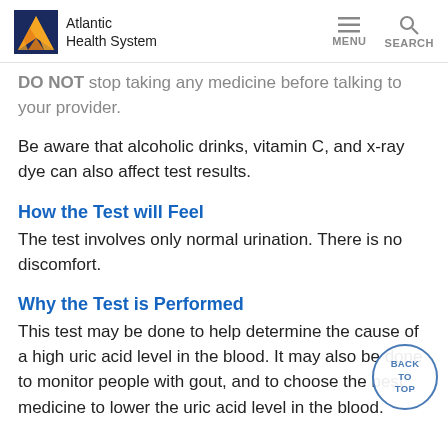Atlantic Health System | MENU | SEARCH
DO NOT stop taking any medicine before talking to your provider.
Be aware that alcoholic drinks, vitamin C, and x-ray dye can also affect test results.
How the Test will Feel
The test involves only normal urination. There is no discomfort.
Why the Test is Performed
This test may be done to help determine the cause of a high uric acid level in the blood. It may also be done to monitor people with gout, and to choose the best medicine to lower the uric acid level in the blood.